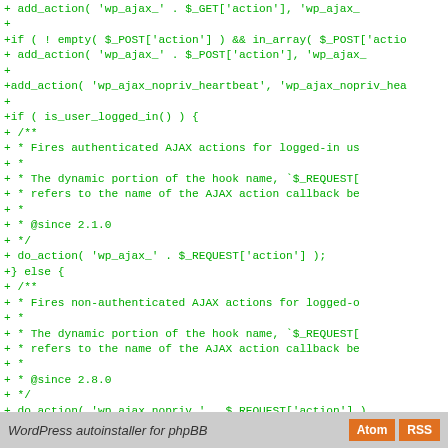Code diff showing WordPress AJAX handler additions including add_action calls, is_user_logged_in check, do_action calls, and die('0') statement
WordPress autoinstaller for phpBB | Atom | RSS